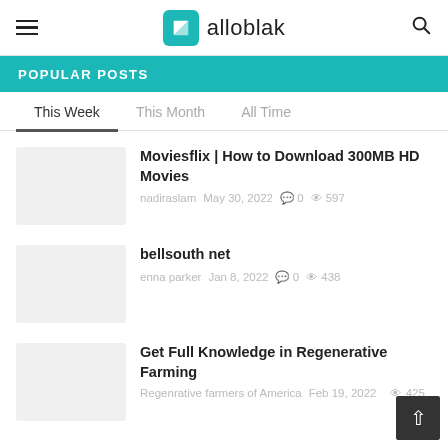alloblak
POPULAR POSTS
This Week | This Month | All Time
Moviesflix | How to Download 300MB HD Movies
nadiraslam  May 30, 2022  0  597
bellsouth net
enna parker  Jan 8, 2022  0  438
Get Full Knowledge in Regenerative Farming
Regenrative farmers of America  Feb 19, 2022  425